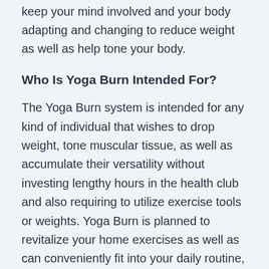keep your mind involved and your body adapting and changing to reduce weight as well as help tone your body.
Who Is Yoga Burn Intended For?
The Yoga Burn system is intended for any kind of individual that wishes to drop weight, tone muscular tissue, as well as accumulate their versatility without investing lengthy hours in the health club and also requiring to utilize exercise tools or weights. Yoga Burn is planned to revitalize your home exercises as well as can conveniently fit into your daily routine, so you do not need to stay with any strict routine and also attempt to work going to a fitness center into your day. Instead, determine when you wish to adhere to in addition